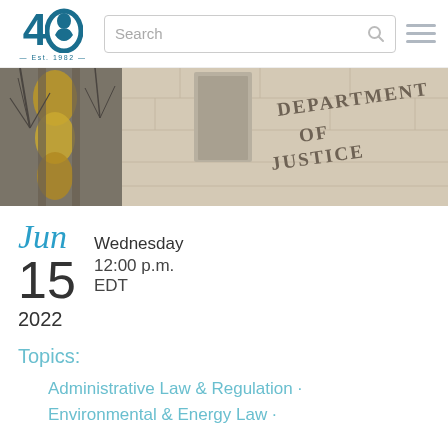40 [logo] Search [hamburger menu]
[Figure (photo): Exterior photograph of the Department of Justice building. Stone facade with engraved letters reading 'DEPARTMENT OF JUSTICE', with a decorative gold metallic sculpture in the foreground and bare tree branches visible.]
Jun
15
2022
Wednesday
12:00 p.m.
EDT
Topics:
Administrative Law & Regulation ·
Environmental & Energy Law ·